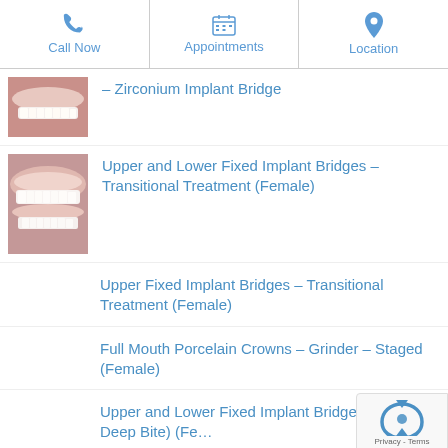Call Now | Appointments | Location
[Figure (photo): Close-up photo of a person's smile showing dental work - upper teeth visible]
– Zirconium Implant Bridge
[Figure (photo): Close-up photo of a person's smile showing upper and lower fixed implant bridges]
Upper and Lower Fixed Implant Bridges – Transitional Treatment (Female)
Upper Fixed Implant Bridges – Transitional Treatment (Female)
Full Mouth Porcelain Crowns – Grinder – Staged (Female)
Upper and Lower Fixed Implant Bridges (Class 2, Deep Bite) (Fe…